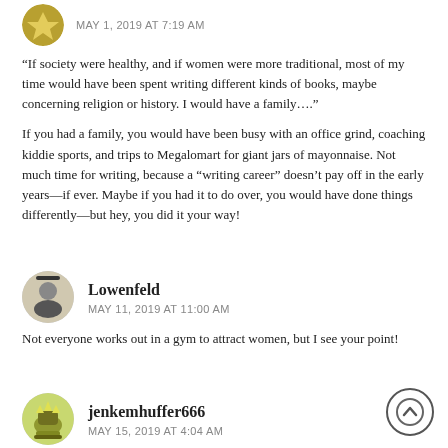MAY 1, 2019 AT 7:19 AM
“If society were healthy, and if women were more traditional, most of my time would have been spent writing different kinds of books, maybe concerning religion or history. I would have a family….”
If you had a family, you would have been busy with an office grind, coaching kiddie sports, and trips to Megalomart for giant jars of mayonnaise. Not much time for writing, because a “writing career” doesn’t pay off in the early years—if ever. Maybe if you had it to do over, you would have done things differently—but hey, you did it your way!
Lowenfeld
MAY 11, 2019 AT 11:00 AM
Not everyone works out in a gym to attract women, but I see your point!
jenkemhuffer666
MAY 15, 2019 AT 4:04 AM
This article made me happy. There is something beautiful about your life – you were once the sheep who was lost, now you are found. Your books, now serve as a force for good, for people to use the reality of game to find good women worth marrying.
What was once used for evil, is now used for good.